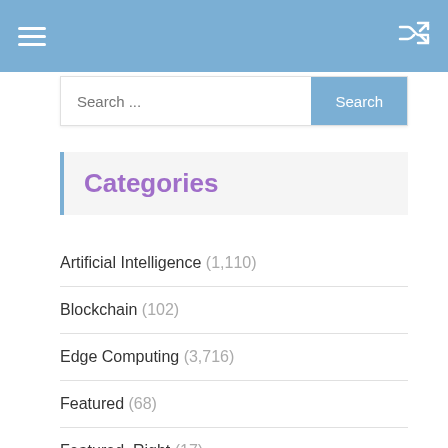[Figure (screenshot): Mobile app top navigation bar with hamburger menu icon on left and shuffle icon on right, light blue background]
[Figure (screenshot): Search bar with placeholder text 'Search ...' and blue Search button]
Categories
Artificial Intelligence (1,110)
Blockchain (102)
Edge Computing (3,716)
Featured (68)
Featured_Right (17)
General (8)